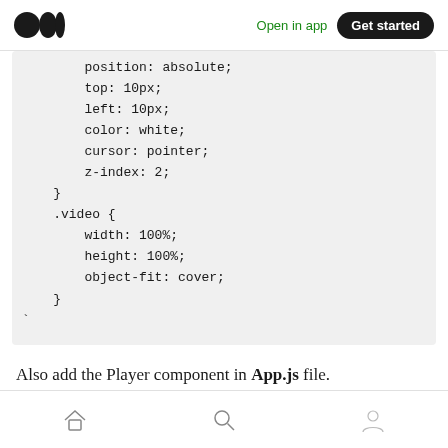Open in app | Get started
position: absolute;
        top: 10px;
        left: 10px;
        color: white;
        cursor: pointer;
        z-index: 2;
    }
    .video {
        width: 100%;
        height: 100%;
        object-fit: cover;
    }
`
Also add the Player component in App.js file.